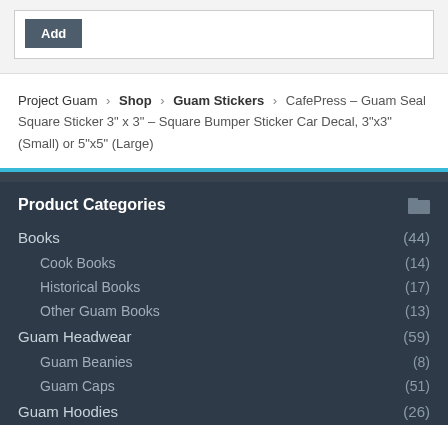Add
Project Guam › Shop › Guam Stickers › CafePress – Guam Seal Square Sticker 3" x 3" – Square Bumper Sticker Car Decal, 3"x3" (Small) or 5"x5" (Large)
Product Categories
Books (44)
Cook Books (14)
Historical Books (17)
Other Guam Books (13)
Guam Headwear (59)
Guam Beanies (8)
Guam Caps (51)
Guam Hoodies (26)